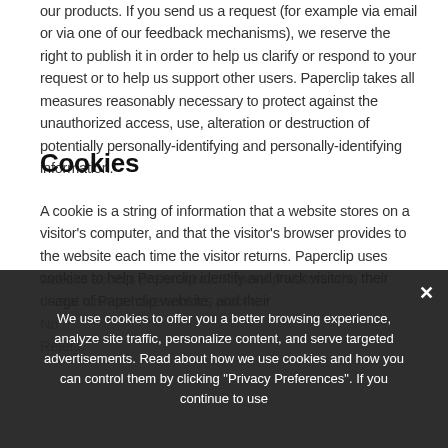our products. If you send us a request (for example via email or via one of our feedback mechanisms), we reserve the right to publish it in order to help us clarify or respond to your request or to help us support other users. Paperclip takes all measures reasonably necessary to protect against the unauthorized access, use, alteration or destruction of potentially personally-identifying and personally-identifying information.
Cookies
A cookie is a string of information that a website stores on a visitor's computer, and that the visitor's browser provides to the website each time the visitor returns. Paperclip uses cookies to help Paperclip identify and track visitors, their usage of Paperclip website, and their
We use cookies to offer you a better browsing experience, analyze site traffic, personalize content, and serve targeted advertisements. Read about how we use cookies and how you can control them by clicking "Privacy Preferences". If you continue to use